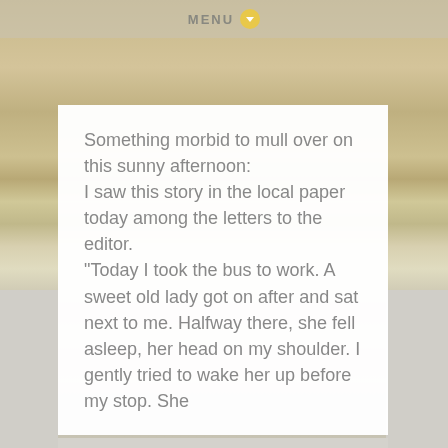MENU
Something morbid to mull over on this sunny afternoon:
I saw this story in the local paper today among the letters to the editor.
"Today I took the bus to work. A sweet old lady got on after and sat next to me. Halfway there, she fell asleep, her head on my shoulder. I gently tried to wake her up before my stop. She